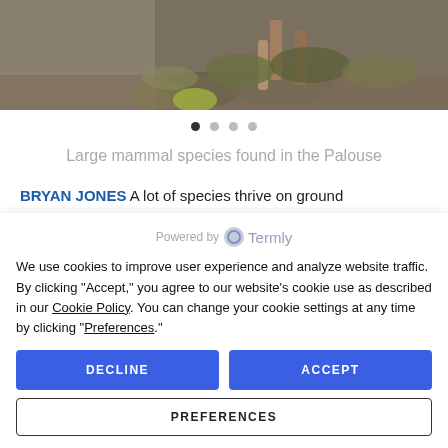[Figure (photo): Partial view of a large mammal in brushy/scrubby landscape, viewed from above. Animal legs and brown/gray vegetation visible.]
Large mammal species found in the Palouse
BRYAN JONES  A lot of species thrive on ground set aside by CRP and that's been a good thing. I
Powered by Termly
We use cookies to improve user experience and analyze website traffic. By clicking "Accept," you agree to our website's cookie use as described in our Cookie Policy. You can change your cookie settings at any time by clicking "Preferences."